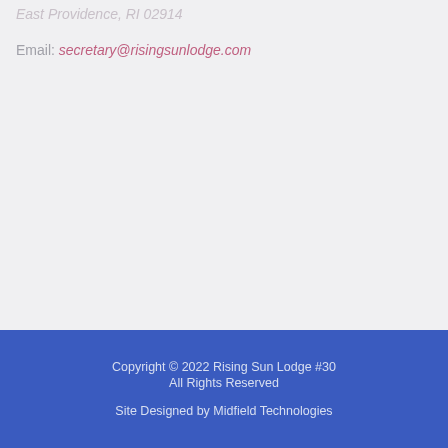East Providence, RI 02914
Email: secretary@risingsunlodge.com
Copyright © 2022 Rising Sun Lodge #30
All Rights Reserved

Site Designed by Midfield Technologies